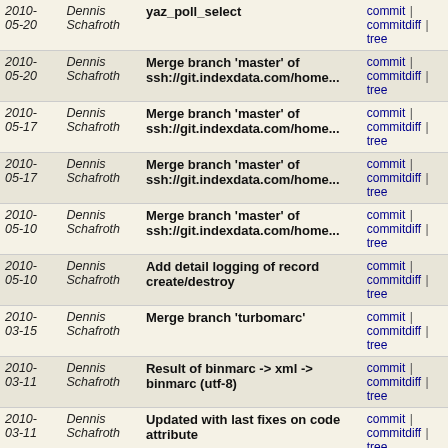| Date | Author | Message | Links |
| --- | --- | --- | --- |
| 2010-05-20 | Dennis Schafroth | yaz_poll_select | commit | commitdiff | tree |
| 2010-05-20 | Dennis Schafroth | Merge branch 'master' of ssh://git.indexdata.com/home... | commit | commitdiff | tree |
| 2010-05-17 | Dennis Schafroth | Merge branch 'master' of ssh://git.indexdata.com/home... | commit | commitdiff | tree |
| 2010-05-17 | Dennis Schafroth | Merge branch 'master' of ssh://git.indexdata.com/home... | commit | commitdiff | tree |
| 2010-05-10 | Dennis Schafroth | Merge branch 'master' of ssh://git.indexdata.com/home... | commit | commitdiff | tree |
| 2010-05-10 | Dennis Schafroth | Add detail logging of record create/destroy | commit | commitdiff | tree |
| 2010-03-15 | Dennis Schafroth | Merge branch 'turbomarc' | commit | commitdiff | tree |
| 2010-03-11 | Dennis Schafroth | Result of binmarc -> xml -> binmarc (utf-8) | commit | commitdiff | tree |
| 2010-03-11 | Dennis Schafroth | Updated with last fixes on code attribute | commit | commitdiff | tree |
| 2010-03-11 | Dennis Schafroth | Fixed: double writting of code value | commit | commitdiff | tree |
| 2010-03-11 | Dennis Schafroth | Updated to new format for non-valid characters in element... | commit | commitdiff | tree |
| 2010-03-11 | Dennis Schafroth | Added echo statement, but commented out | commit | commitdiff | tree |
| 2010-03-11 | Dennis Schafroth | Re-implemented the element name encoding as Adams suggestion... | commit | commitdiff | tree |
| 2010-03-11 | Dennis Schafroth | Re-implemented the element name encoding as Adams suggestion | commit | commitdiff | tree |